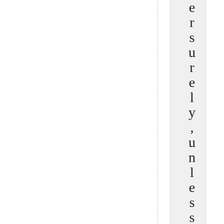e r s u r e l y ,  u n l e s s  h e  i s  a n o t h e